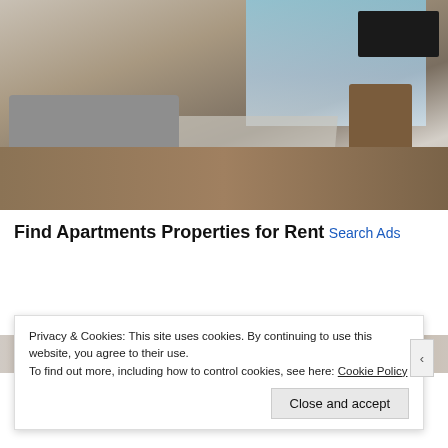[Figure (photo): Interior photo of a modern apartment living room with grey sectional sofa, wooden coffee table, leather armchair, large windows with city skyline view, hardwood floor, and wall-mounted TV]
Find Apartments Properties for Rent
Search Ads
[Figure (photo): Partial second apartment image visible behind cookie banner]
Privacy & Cookies: This site uses cookies. By continuing to use this website, you agree to their use.
To find out more, including how to control cookies, see here: Cookie Policy
Close and accept